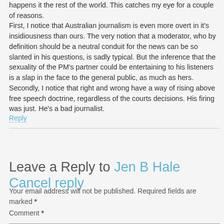happens it the rest of the world. This catches my eye for a couple of reasons. First, I notice that Australian journalism is even more overt in it's insidiousness than ours. The very notion that a moderator, who by definition should be a neutral conduit for the news can be so slanted in his questions, is sadly typical. But the inference that the sexuality of the PM's partner could be entertaining to his listeners is a slap in the face to the general public, as much as hers. Secondly, I notice that right and wrong have a way of rising above free speech doctrine, regardless of the courts decisions. His firing was just. He's a bad journalist.
Reply
Leave a Reply to Jen B Hale Cancel reply
Your email address will not be published. Required fields are marked *
Comment *